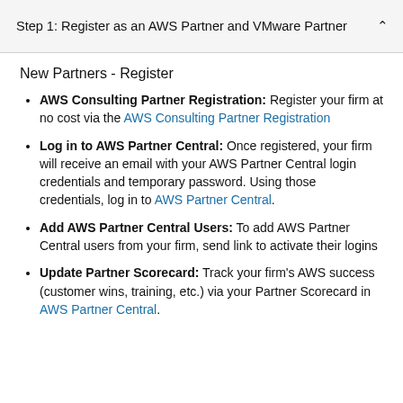Step 1: Register as an AWS Partner and VMware Partner
New Partners - Register
AWS Consulting Partner Registration: Register your firm at no cost via the AWS Consulting Partner Registration
Log in to AWS Partner Central: Once registered, your firm will receive an email with your AWS Partner Central login credentials and temporary password. Using those credentials, log in to AWS Partner Central.
Add AWS Partner Central Users: To add AWS Partner Central users from your firm, send link to activate their logins
Update Partner Scorecard: Track your firm's AWS success (customer wins, training, etc.) via your Partner Scorecard in AWS Partner Central.